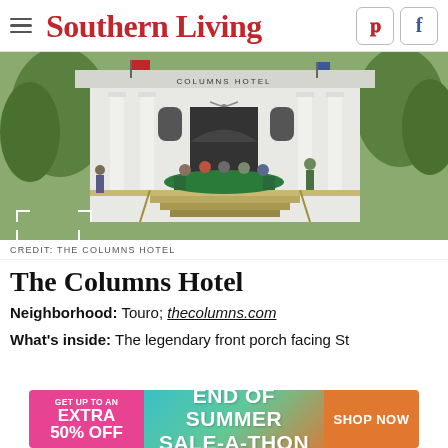Southern Living
[Figure (photo): Exterior photo of The Columns Hotel showing white columned facade with green trees, guests seated on front porch steps, sign reading 'Columns Hotel' above entrance]
CREDIT: THE COLUMNS HOTEL
The Columns Hotel
Neighborhood: Touro; thecolumns.com
What's inside: The legendary front porch facing St. Charles
[Figure (infographic): Advertisement banner: GET UP TO AN EXTRA 50% OFF — END OF SUMMER SALE-A-THON — SHOP NOW]